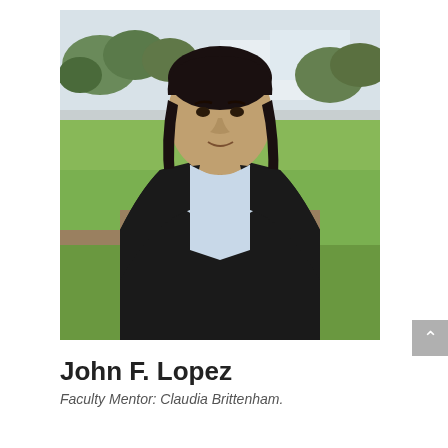[Figure (photo): Outdoor photo of a man with long dark hair wearing a dark blazer over a light blue collared shirt, standing in a park with green grass and trees in the background.]
John F. Lopez
Faculty Mentor: Claudia Brittenham.